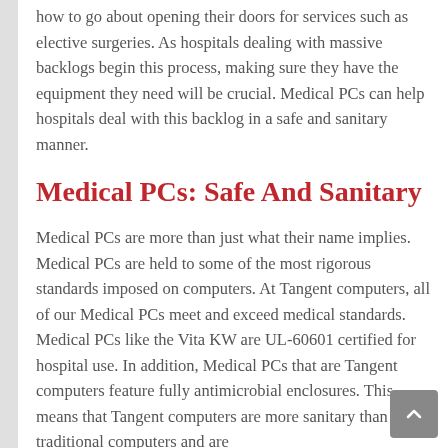how to go about opening their doors for services such as elective surgeries. As hospitals dealing with massive backlogs begin this process, making sure they have the equipment they need will be crucial. Medical PCs can help hospitals deal with this backlog in a safe and sanitary manner.
Medical PCs: Safe And Sanitary
Medical PCs are more than just what their name implies. Medical PCs are held to some of the most rigorous standards imposed on computers. At Tangent computers, all of our Medical PCs meet and exceed medical standards. Medical PCs like the Vita KW are UL-60601 certified for hospital use. In addition, Medical PCs that are Tangent computers feature fully antimicrobial enclosures. This means that Tangent computers are more sanitary than traditional computers and are